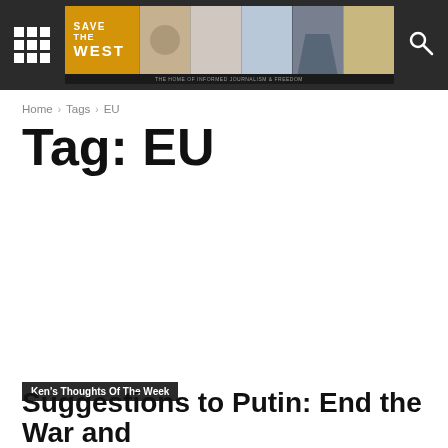Save The West — The Home of Informed Journalism & Freedom
Home › Tags › EU
Tag: EU
Ken's Thoughts Of The Week
Suggestions to Putin: End the War and